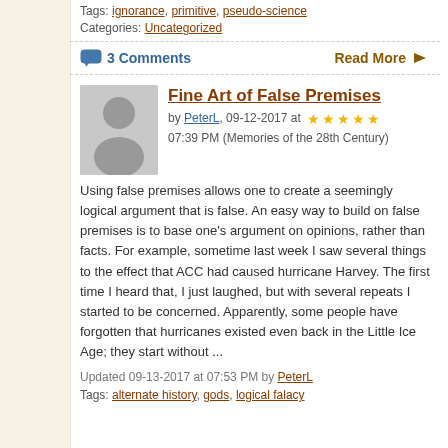Tags: ignorance, primitive, pseudo-science
Categories: Uncategorized
3 Comments
Read More ➡
Fine Art of False Premises
by PeterL, 09-12-2017 at 07:39 PM (Memories of the 28th Century)
Using false premises allows one to create a seemingly logical argument that is false. An easy way to build on false premises is to base one's argument on opinions, rather than facts. For example, sometime last week I saw several things to the effect that ACC had caused hurricane Harvey. The first time I heard that, I just laughed, but with several repeats I started to be concerned. Apparently, some people have forgotten that hurricanes existed even back in the Little Ice Age; they start without ...
Updated 09-13-2017 at 07:53 PM by PeterL
Tags: alternate history, gods, logical falacy